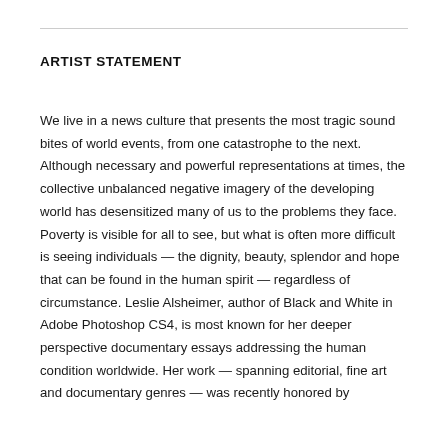ARTIST STATEMENT
We live in a news culture that presents the most tragic sound bites of world events, from one catastrophe to the next. Although necessary and powerful representations at times, the collective unbalanced negative imagery of the developing world has desensitized many of us to the problems they face. Poverty is visible for all to see, but what is often more difficult is seeing individuals — the dignity, beauty, splendor and hope that can be found in the human spirit — regardless of circumstance. Leslie Alsheimer, author of Black and White in Adobe Photoshop CS4, is most known for her deeper perspective documentary essays addressing the human condition worldwide. Her work — spanning editorial, fine art and documentary genres — was recently honored by